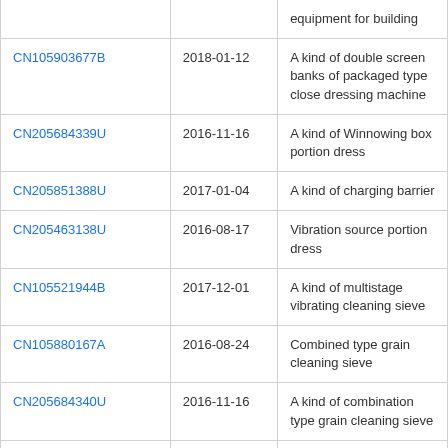| Patent ID | Date | Description |
| --- | --- | --- |
|  |  | equipment for building |
| CN105903677B | 2018-01-12 | A kind of double screen banks of packaged type close dressing machine |
| CN205684339U | 2016-11-16 | A kind of Winnowing box portion dress |
| CN205851388U | 2017-01-04 | A kind of charging barrier |
| CN205463138U | 2016-08-17 | Vibration source portion dress |
| CN105521944B | 2017-12-01 | A kind of multistage vibrating cleaning sieve |
| CN105880167A | 2016-08-24 | Combined type grain cleaning sieve |
| CN205684340U | 2016-11-16 | A kind of combination type grain cleaning sieve |
| CN105457894B | 2017-11-07 | A kind of multistage compound cleaning center |